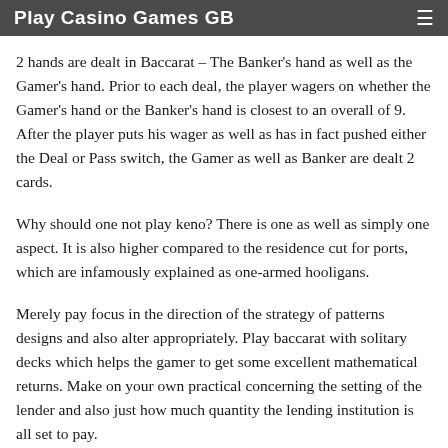Play Casino Games GB
2 hands are dealt in Baccarat – The Banker's hand as well as the Gamer's hand. Prior to each deal, the player wagers on whether the Gamer's hand or the Banker's hand is closest to an overall of 9. After the player puts his wager as well as has in fact pushed either the Deal or Pass switch, the Gamer as well as Banker are dealt 2 cards.
Why should one not play keno? There is one as well as simply one aspect. It is also higher compared to the residence cut for ports, which are infamously explained as one-armed hooligans.
Merely pay focus in the direction of the strategy of patterns designs and also alter appropriately. Play baccarat with solitary decks which helps the gamer to get some excellent mathematical returns. Make on your own practical concerning the setting of the lender and also just how much quantity the lending institution is all set to pay.